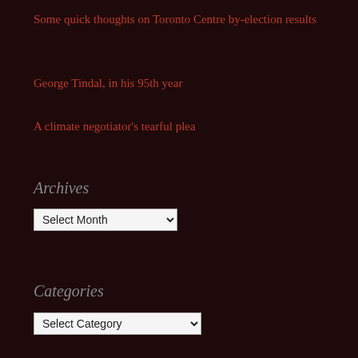Some quick thoughts on Toronto Centre by-election results
George Tindal, in his 95th year
A climate negotiator's tearful plea
Archives
[Figure (screenshot): A dropdown select box labeled 'Select Month']
Categories
[Figure (screenshot): A dropdown select box labeled 'Select Category']